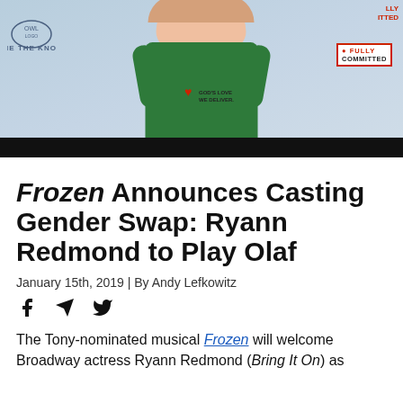[Figure (photo): Woman in green dress at event backdrop with Tie The Knot, God's Love We Deliver, and Fully Committed logos visible]
Frozen Announces Casting Gender Swap: Ryann Redmond to Play Olaf
January 15th, 2019 | By Andy Lefkowitz
[Figure (infographic): Social share icons: Facebook, Telegram, Twitter]
The Tony-nominated musical Frozen will welcome Broadway actress Ryann Redmond (Bring It On) as